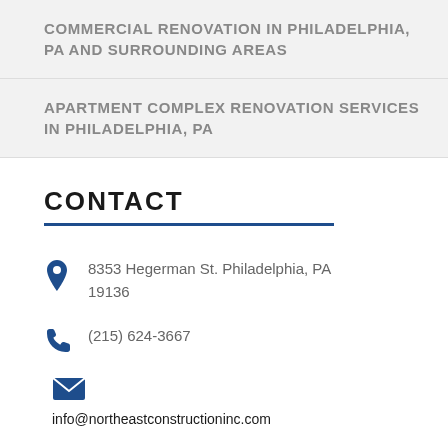COMMERCIAL RENOVATION IN PHILADELPHIA, PA AND SURROUNDING AREAS
APARTMENT COMPLEX RENOVATION SERVICES IN PHILADELPHIA, PA
CONTACT
8353 Hegerman St. Philadelphia, PA 19136
(215) 624-3667
info@northeastconstructioninc.com